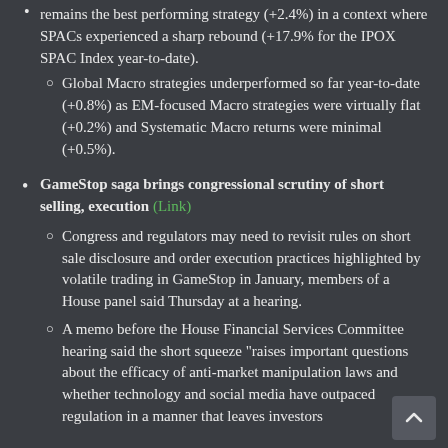remains the best performing strategy (+2.4%) in a context where SPACs experienced a sharp rebound (+17.9% for the IPOX SPAC Index year-to-date).
Global Macro strategies underperformed so far year-to-date (+0.8%) as EM-focused Macro strategies were virtually flat (+0.2%) and Systematic Macro returns were minimal (+0.5%).
GameStop saga brings congressional scrutiny of short selling, execution (Link)
Congress and regulators may need to revisit rules on short sale disclosure and order execution practices highlighted by volatile trading in GameStop in January, members of a House panel said Thursday at a hearing.
A memo before the House Financial Services Committee hearing said the short squeeze "raises important questions about the efficacy of anti-market manipulation laws and whether technology and social media have outpaced regulation in a manner that leaves investors